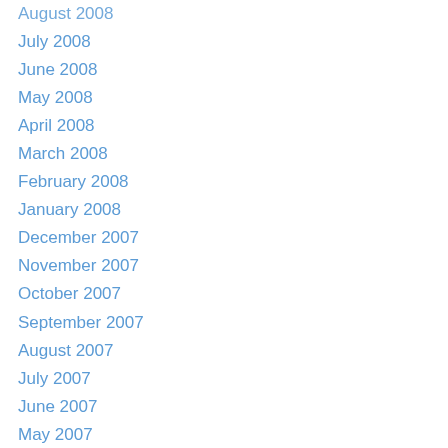August 2008
July 2008
June 2008
May 2008
April 2008
March 2008
February 2008
January 2008
December 2007
November 2007
October 2007
September 2007
August 2007
July 2007
June 2007
May 2007
April 2007
March 2007